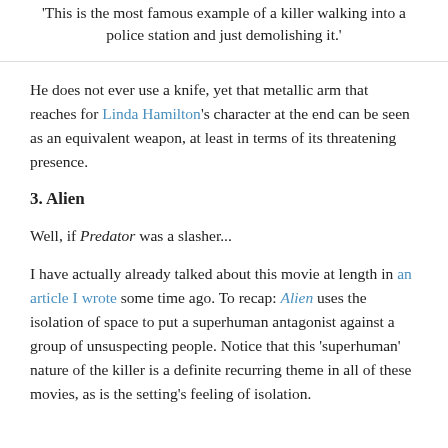'This is the most famous example of a killer walking into a police station and just demolishing it.'
He does not ever use a knife, yet that metallic arm that reaches for Linda Hamilton's character at the end can be seen as an equivalent weapon, at least in terms of its threatening presence.
3. Alien
Well, if Predator was a slasher...
I have actually already talked about this movie at length in an article I wrote some time ago. To recap: Alien uses the isolation of space to put a superhuman antagonist against a group of unsuspecting people. Notice that this 'superhuman' nature of the killer is a definite recurring theme in all of these movies, as is the setting's feeling of isolation.